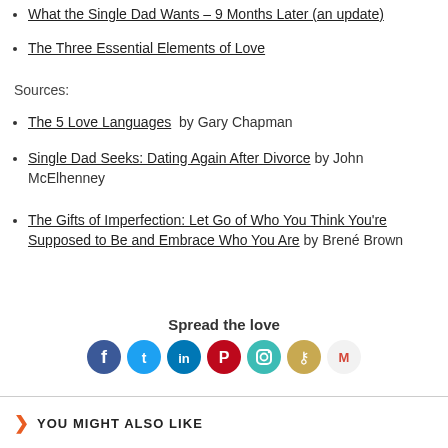What the Single Dad Wants – 9 Months Later (an update)
The Three Essential Elements of Love
Sources:
The 5 Love Languages by Gary Chapman
Single Dad Seeks: Dating Again After Divorce by John McElhenney
The Gifts of Imperfection: Let Go of Who You Think You're Supposed to Be and Embrace Who You Are by Brené Brown
Spread the love
[Figure (infographic): Social share icons: Facebook (blue), Twitter (light blue), LinkedIn (dark blue), Pinterest (red), Instagram (teal), Copy link (yellow-tan), Gmail (red/white)]
YOU MIGHT ALSO LIKE